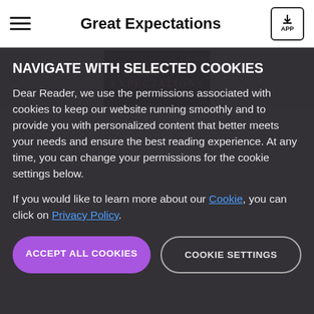Great Expectations
[Figure (photo): Book cover of Great Expectations showing title text in gold on dark background]
NAVIGATE WITH SELECTED COOKIES
Dear Reader, we use the permissions associated with cookies to keep our website running smoothly and to provide you with personalized content that better meets your needs and ensure the best reading experience. At any time, you can change your permissions for the cookie settings below.
If you would like to learn more about our Cookie, you can click on Privacy Policy.